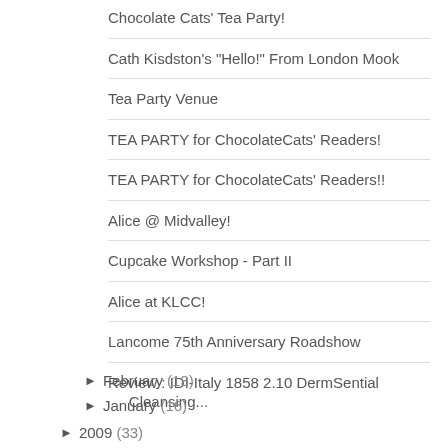Chocolate Cats' Tea Party!
Cath Kisdston's "Hello!" From London Mook
Tea Party Venue
TEA PARTY for ChocolateCats' Readers!
TEA PARTY for ChocolateCats' Readers!!
Alice @ Midvalley!
Cupcake Workshop - Part II
Alice at KLCC!
Lancome 75th Anniversary Roadshow
Review : IDI-Italy 1858 2.10 DermSential Cleansing...
► February (13)
► January (16)
► 2009 (33)